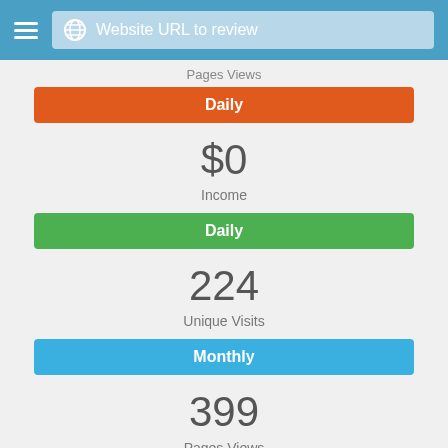Website URL to review
Pages Views
Daily
$0
Income
Daily
224
Unique Visits
Monthly
399
Pages Views